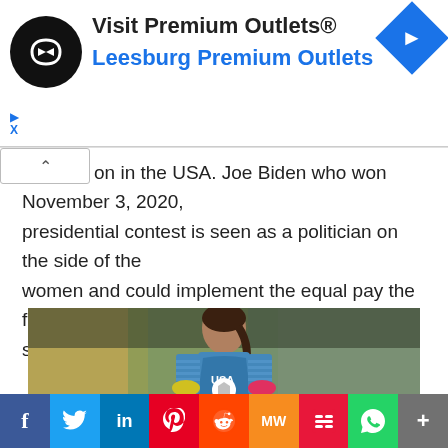[Figure (other): Advertisement banner for Visit Premium Outlets® - Leesburg Premium Outlets, with black circular logo with chain link icon on left, blue diamond navigation arrow on right, and blue triangle/X ad markers below]
on in the USA. Joe Biden who won November 3, 2020, presidential contest is seen as a politician on the side of the women and could implement the equal pay the female soccer stars have been clamoring for.
[Figure (photo): Female soccer goalkeeper wearing USA jersey and colorful goalkeeper gloves, holding a soccer ball, looking to the side, with blurred crowd in background]
[Figure (other): Social media sharing bar with buttons for Facebook (blue), Twitter (light blue), LinkedIn (dark blue), Pinterest (red), Reddit (orange), MW (orange), Mix (red), WhatsApp (green), More (gray)]